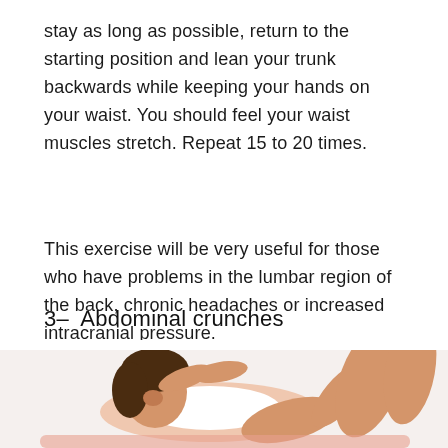stay as long as possible, return to the starting position and lean your trunk backwards while keeping your hands on your waist. You should feel your waist muscles stretch. Repeat 15 to 20 times.
This exercise will be very useful for those who have problems in the lumbar region of the back, chronic headaches or increased intracranial pressure.
3–  Abdominal crunches
[Figure (photo): A woman doing abdominal crunches exercise, lying on her back with hands behind her head and knees bent, smiling at the camera.]